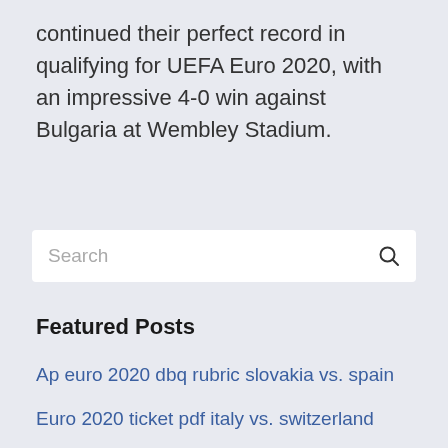continued their perfect record in qualifying for UEFA Euro 2020, with an impressive 4-0 win against Bulgaria at Wembley Stadium.
Search
Featured Posts
Ap euro 2020 dbq rubric slovakia vs. spain
Euro 2020 ticket pdf italy vs. switzerland